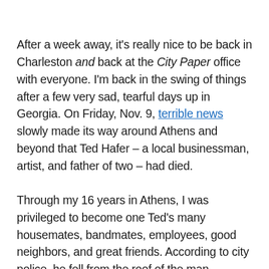After a week away, it's really nice to be back in Charleston and back at the City Paper office with everyone. I'm back in the swing of things after a few very sad, tearful days up in Georgia. On Friday, Nov. 9, terrible news slowly made its way around Athens and beyond that Ted Hafer – a local businessman, artist, and father of two – had died.
Through my 16 years in Athens, I was privileged to become one Ted's many housemates, bandmates, employees, good neighbors, and great friends. According to city police, he fell from the roof of the man downtown parking deck on Washington